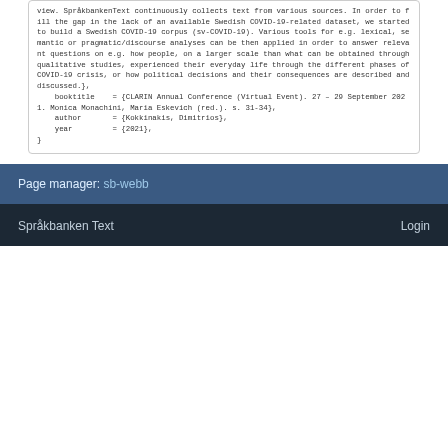view. SpråkbankenText continuously collects text from various sources. In order to fill the gap in the lack of an available Swedish COVID-19-related dataset, we started to build a Swedish COVID-19 corpus (sv-COVID-19). Various tools for e.g. lexical, semantic or pragmatic/discourse analyses can be then applied in order to answer relevant questions on e.g. how people, on a larger scale than what can be obtained through qualitative studies, experienced their everyday life through the different phases of COVID-19 crisis, or how political decisions and their consequences are described and discussed.},
    booktitle    = {CLARIN Annual Conference (Virtual Event). 27 – 29 September 2021. Monica Monachini, Maria Eskevich (red.). s. 31-34},
    author       = {Kokkinakis, Dimitrios},
    year         = {2021},
}
Page manager: sb-webb
Språkbanken Text    Login